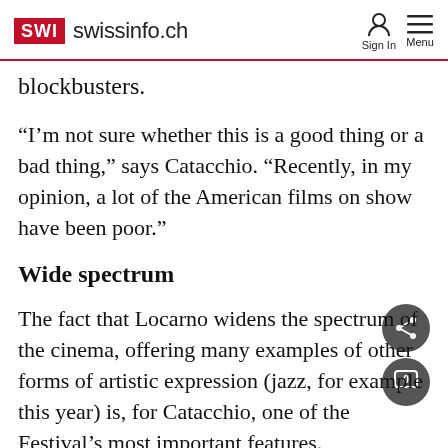SWI swissinfo.ch
blockbusters.
“I’m not sure whether this is a good thing or a bad thing,” says Catacchio. “Recently, in my opinion, a lot of the American films on show have been poor.”
Wide spectrum
The fact that Locarno widens the spectrum of the cinema, offering many examples of other forms of artistic expression (jazz, for example this year) is, for Catacchio, one of the Festival’s most important features.